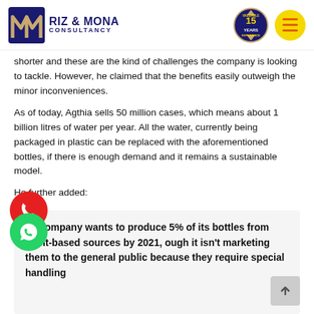Riz & Mona Consultancy
shorter and these are the kind of challenges the company is looking to tackle. However, he claimed that the benefits easily outweigh the minor inconveniences.
As of today, Agthia sells 50 million cases, which means about 1 billion litres of water per year. All the water, currently being packaged in plastic can be replaced with the aforementioned bottles, if there is enough demand and it remains a sustainable model.
He further added:
he company wants to produce 5% of its bottles from plant-based sources by 2021, ough it isn't marketing them to the general public because they require special handling